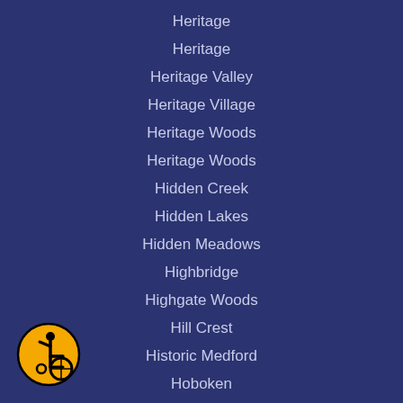Heritage
Heritage
Heritage Valley
Heritage Village
Heritage Woods
Heritage Woods
Hidden Creek
Hidden Lakes
Hidden Meadows
Highbridge
Highgate Woods
Hill Crest
Historic Medford
Hoboken
Hoboken Condo
Hoboken with Doorman
Hoboken With Elevator
[Figure (illustration): Accessibility icon: yellow circle with black border containing a wheelchair user symbol in black]